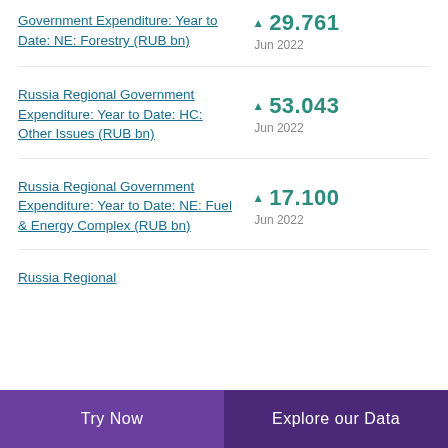Government Expenditure: Year to Date: NE: Forestry (RUB bn)
▲ 29.761 Jun 2022
Russia Regional Government Expenditure: Year to Date: HC: Other Issues (RUB bn)
▲ 53.043 Jun 2022
Russia Regional Government Expenditure: Year to Date: NE: Fuel & Energy Complex (RUB bn)
▲ 17.100 Jun 2022
Russia Regional
Try Now    Explore our Data